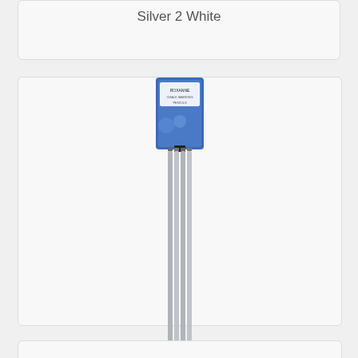Silver 2 White
[Figure (photo): Roxanne Chalk Marking Pencils - 4 Silver product image showing a bundle of 4 silver chalk marking pencils with blue branded card header]
Roxanne Chalk Marking Pencils - 4 Silver
$12.00
[Figure (photo): Partial view of another product card at the bottom of the page]